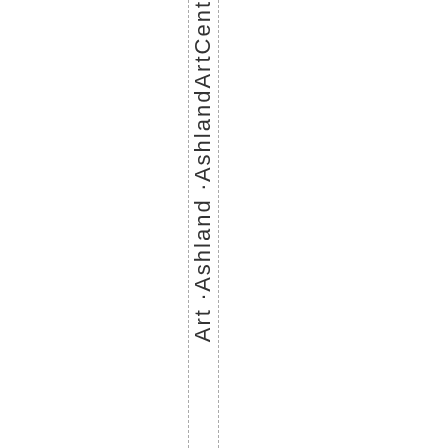Art ·Ashland ·Ashland ArtCent...